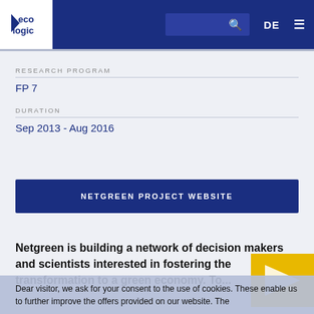eco logic | DE | search | menu
RESEARCH PROGRAM
FP 7
DURATION
Sep 2013 - Aug 2016
NETGREEN PROJECT WEBSITE
Netgreen is building a network of decision makers and scientists interested in fostering the transformation to a green economy. To...
Dear visitor, we ask for your consent to the use of cookies. These enable us to further improve the offers provided on our website. The